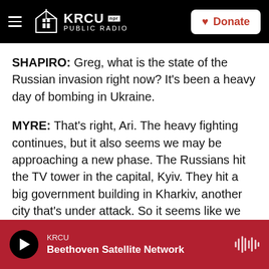KRCU NPR PUBLIC RADIO | Donate
SHAPIRO: Greg, what is the state of the Russian invasion right now? It's been a heavy day of bombing in Ukraine.
MYRE: That's right, Ari. The heavy fighting continues, but it also seems we may be approaching a new phase. The Russians hit the TV tower in the capital, Kyiv. They hit a big government building in Kharkiv, another city that's under attack. So it seems like we might be entering this phase of a sort of battle for the cities, and the biggest prize of all, of course, is the capital Kyiv.
KRCU Beethoven Satellite Network